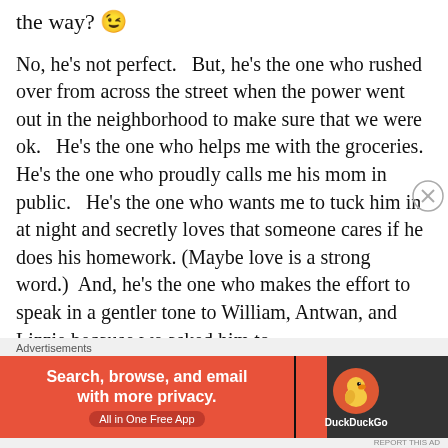the way? 😉
No, he's not perfect.   But, he's the one who rushed over from across the street when the power went out in the neighborhood to make sure that we were ok.   He's the one who helps me with the groceries.  He's the one who proudly calls me his mom in public.   He's the one who wants me to tuck him in at night and secretly loves that someone cares if he does his homework. (Maybe love is a strong word.)  And, he's the one who makes the effort to speak in a gentler tone to William, Antwan, and Lizzie because we asked him to.
So why should people adopt teenagers when it is
Advertisements
[Figure (other): DuckDuckGo advertisement banner: orange background on left with text 'Search, browse, and email with more privacy. All in One Free App', dark background on right with DuckDuckGo duck logo and brand name.]